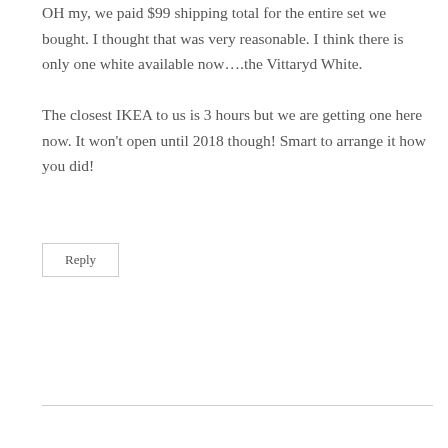OH my, we paid $99 shipping total for the entire set we bought. I thought that was very reasonable. I think there is only one white available now….the Vittaryd White.
The closest IKEA to us is 3 hours but we are getting one here now. It won't open until 2018 though! Smart to arrange it how you did!
Reply